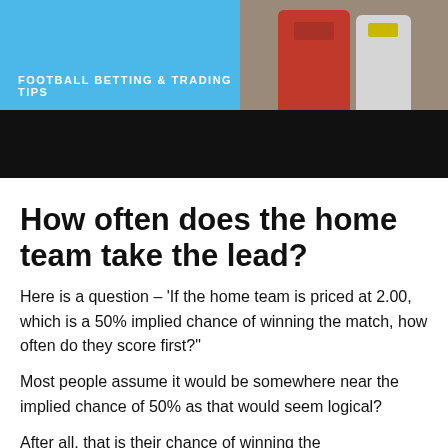[Figure (photo): Website header banner with blue section labeled 'Football Betting & Trading Tips' on the left and football players/jerseys visible on the right]
[Figure (other): Dark/black horizontal banner bar below the header image]
How often does the home team take the lead?
Here is a question – 'If the home team is priced at 2.00, which is a 50% implied chance of winning the match, how often do they score first?"
Most people assume it would be somewhere near the implied chance of 50% as that would seem logical?
After all, that is their chance of winning the game scoring first must roughly equal that over the long term. If the market is efficient, which it is and goals are